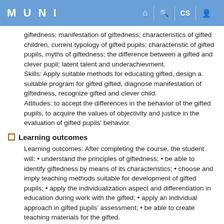MUNI
giftedness; manifestation of giftedness; characteristics of gifted children, current typology of gifted pupils; characteristic of gifted pupils, myths of giftedness; the difference between a gifted and clever pupil; latent talent and underachievment. Skills: Apply suitable methods for educating gifted, design a suitable program for gifted gifted, diagnose manifestation of giftedness, recognize gifted and clever child. Attitudes: to accept the differences in the behavior of the gifted pupils, to acquire the values of objectivity and justice in the evaluation of gifted pupils' behavior.
Learning outcomes
Learning outcomes: After completing the course, the student will: • understand the principles of giftedness; • be able to identify giftedness by means of its characteristics; • choose and imply teaching methods suitable for development of gifted pupils; • apply the individualization aspect and differentiation in education during work with the gifted; • apply an individual approach in gifted pupils' assessment; • be able to create teaching materials for the gifted.
Syllabus
Main topics (syllabus): 1.-2. Psychological principles of gifted...